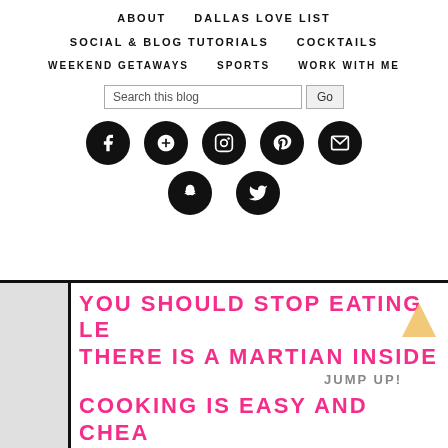ABOUT   DALLAS LOVE LIST
SOCIAL & BLOG TUTORIALS   COCKTAILS
WEEKEND GETAWAYS   SPORTS   WORK WITH ME
Search this blog  Go
[Figure (infographic): Row of 5 black circular social media icons: Facebook, Google+, Instagram, Pinterest, Email]
[Figure (infographic): Row of 2 black circular social media icons: Snapchat, Twitter]
YOU SHOULD STOP EATING LE THERE IS A MARTIAN INSIDE
JUMP UP!
COOKING IS EASY AND CHEA